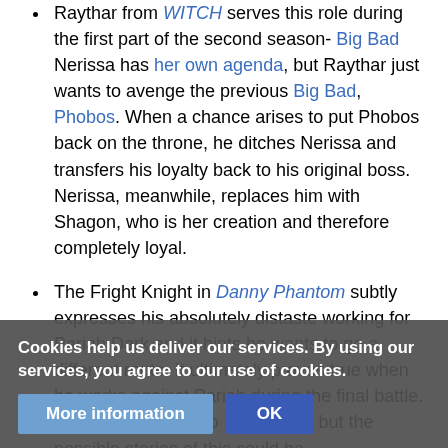Raythar from WITCH serves this role during the first part of the second season- Big Bad Nerissa has her own agenda, but Raythar just wants to avenge the previous Big Bad, Phobos. When a chance arises to put Phobos back on the throne, he ditches Nerissa and transfers his loyalty back to his original boss. Nerissa, meanwhile, replaces him with Shagon, who is her creation and therefore completely loyal.
The Fright Knight in Danny Phantom subtly expresses his absolutely distaste working for Pariah Dark and it hints he wants to go a different route. It ultimately proves true when he works against Pariah during the final battle. It's hinted he want to serve Vlad, but the possible stories of this could ha[ve happened]
Cookies help us deliver our services. By using our services, you agree to our use of cookies.